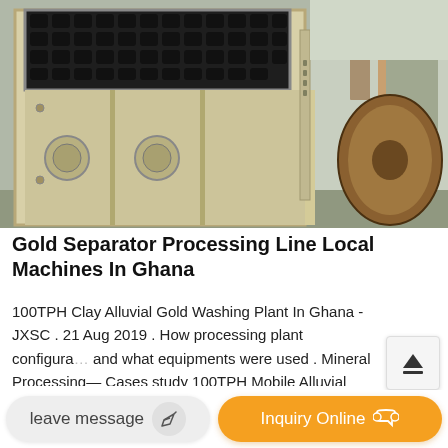[Figure (photo): Photograph of a large industrial vibrating screen separator machine, cream/beige colored metal frame with black grate on top and cylindrical bolts visible inside the compartments. Background shows a factory/industrial building setting.]
Gold Separator Processing Line Local Machines In Ghana
100TPH Clay Alluvial Gold Washing Plant In Ghana - JXSC . 21 Aug 2019 . How processing plant configuration and what equipments were used . Mineral Processing Cases study 100TPH Mobile Alluvial Gold Wash Plant In Ghana. . electrostatic separator flotation machine washing